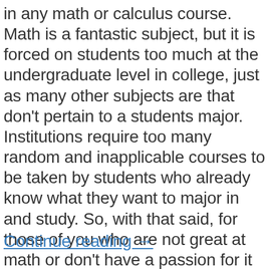in any math or calculus course. Math is a fantastic subject, but it is forced on students too much at the undergraduate level in college, just as many other subjects are that don't pertain to a students major. Institutions require too many random and inapplicable courses to be taken by students who already know what they want to major in and study. So, with that said, for those of you who are not great at math or don't have a passion for it but have to take the prerequisites, stay tuned with our posts and look into our software. You will love it. We can help you learn the math you are studying so you aren't wasting your time and money, while being much more efficient doing so.
Continue reading →